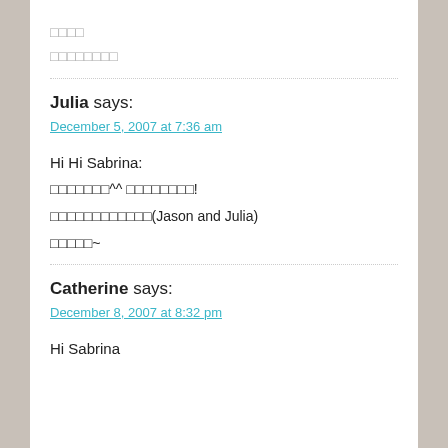□□□□
□□□□□□□□
Julia says:
December 5, 2007 at 7:36 am
Hi Hi Sabrina:
□□□□□□□^^ □□□□□□□□!
□□□□□□□□□□□□(Jason and Julia)
□□□□□~
Catherine says:
December 8, 2007 at 8:32 pm
Hi Sabrina